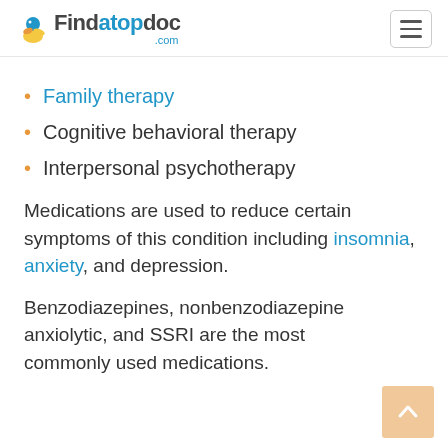Findatopdoc.com
Family therapy
Cognitive behavioral therapy
Interpersonal psychotherapy
Medications are used to reduce certain symptoms of this condition including insomnia, anxiety, and depression.
Benzodiazepines, nonbenzodiazepine anxiolytic, and SSRI are the most commonly used medications.